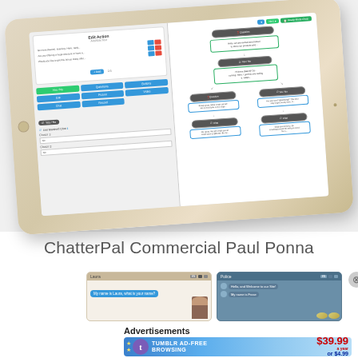[Figure (screenshot): iPad/tablet screenshot showing ChatterPal app interface with a flowchart editor on the right panel and action buttons (Yes/No, Questions, Buttons, GIF, Picture, Video, Chat, Record) on the left panel]
ChatterPal Commercial Paul Ponna
[Figure (screenshot): Two chat window screenshots side by side showing ChatterPal conversation interfaces, one with a beige/tan theme and one with a blue theme, with avatar/character images]
Advertisements
[Figure (infographic): Tumblr Ad-Free Browsing advertisement banner showing $39.99 a year or $4.99 a month pricing with Tumblr logo]